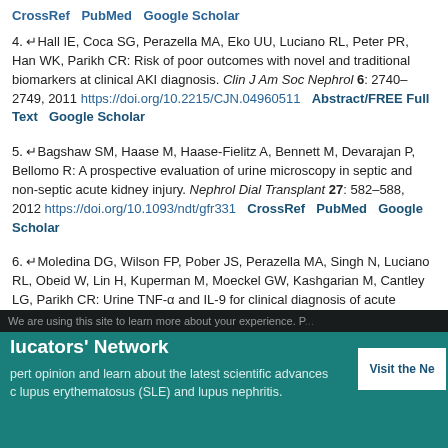CrossRef  PubMed  Google Scholar
4. Hall IE, Coca SG, Perazella MA, Eko UU, Luciano RL, Peter PR, Han WK, Parikh CR: Risk of poor outcomes with novel and traditional biomarkers at clinical AKI diagnosis. Clin J Am Soc Nephrol 6: 2740–2749, 2011 https://doi.org/10.2215/CJN.04960511  Abstract/FREE Full Text  Google Scholar
5. Bagshaw SM, Haase M, Haase-Fielitz A, Bennett M, Devarajan P, Bellomo R: A prospective evaluation of urine microscopy in septic and non-septic acute kidney injury. Nephrol Dial Transplant 27: 582–588, 2012 https://doi.org/10.1093/ndt/gfr331  CrossRef  PubMed  Google Scholar
6. Moledina DG, Wilson FP, Pober JS, Perazella MA, Singh N, Luciano RL, Obeid W, Lin H, Kuperman M, Moeckel GW, Kashgarian M, Cantley LG, Parikh CR: Urine TNF-α and IL-9 for clinical diagnosis of acute interstitial nephritis. JCI Insight 4: e127456, 2019 https://doi.org/10.1172/jci.insight.127456  Google Scholar
lucators' Network – expert opinion and learn about the latest scientific advances in lupus erythematosus (SLE) and lupus nephritis. Visit the Ne...